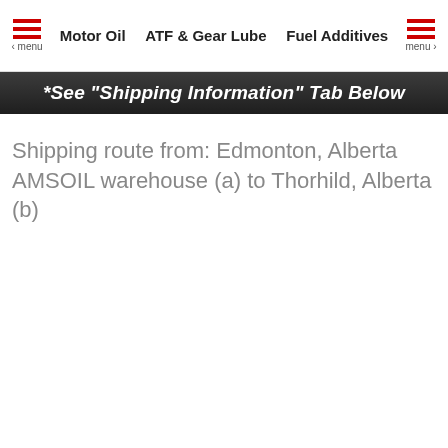Motor Oil   ATF & Gear Lube   Fuel Additives
[Figure (screenshot): Dark banner with italic bold white text: *See "Shipping Information" Tab Below]
Shipping route from: Edmonton, Alberta AMSOIL warehouse (a) to Thorhild, Alberta (b)